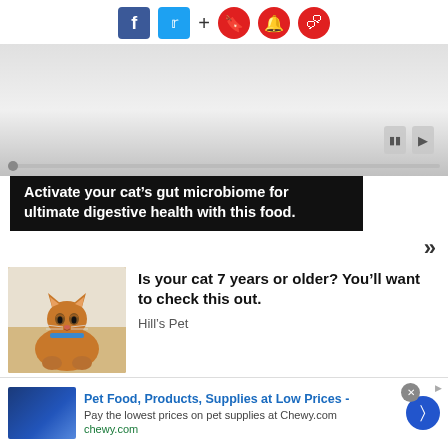[Figure (screenshot): Social media sharing bar with Facebook, Twitter, plus sign, and three red circular icons (bookmark, bell, comment)]
[Figure (screenshot): Video player area with gray gradient background, playback controls, and progress bar at bottom]
Activate your cat’s gut microbiome for ultimate digestive health with this food.
»
[Figure (photo): Orange tabby cat lying on floor looking at camera]
Is your cat 7 years or older? You’ll want to check this out.
Hill’s Pet
Pet Food, Products, Supplies at Low Prices - Pay the lowest prices on pet supplies at Chewy.com chewy.com